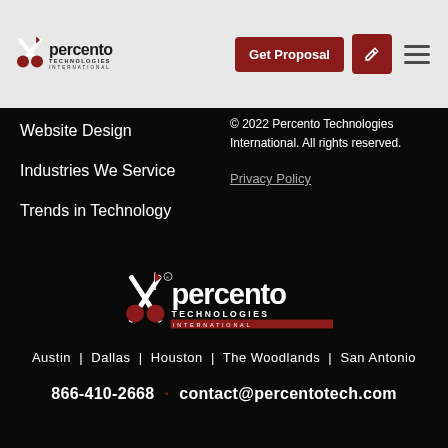[Figure (logo): Percento Technologies International logo in header]
Get Proposal
Website Design
Industries We Service
Trends in Technology
© 2022 Percento Technologies International. All rights reserved.
Privacy Policy
[Figure (logo): Percento Technologies International large white logo in footer]
Austin | Dallas | Houston | The Woodlands | San Antonio
866-410-2668 · contact@percentotech.com